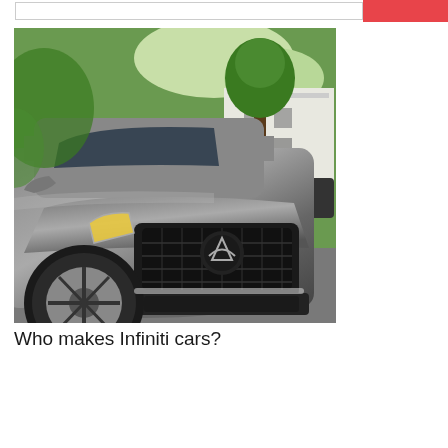[Figure (photo): Front view of a gray Infiniti QX80 SUV parked on a driveway in a residential neighborhood with trees and a white house in the background.]
Who makes Infiniti cars?